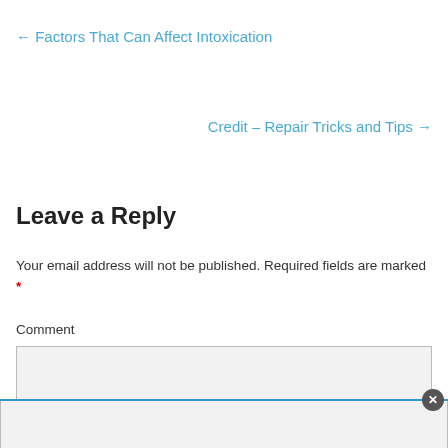← Factors That Can Affect Intoxication
Credit – Repair Tricks and Tips →
Leave a Reply
Your email address will not be published. Required fields are marked *
Comment